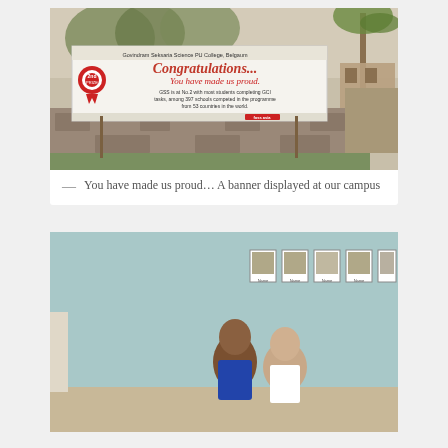[Figure (photo): Outdoor photograph of a large congratulatory banner for Govindram Seksaria Science PU College, Belgaum. The banner reads 'Congratulations... You have made us proud. GSS is at No.2 with most students completing GCI tasks, among 397 schools competed in the programme from 53 countries in the world.' A red rosette badge is on the left of the banner. The banner is mounted on poles in front of a stone wall with trees and a building in the background.]
— You have made us proud… A banner displayed at our campus
[Figure (photo): Indoor photograph showing two people standing in a room with a light blue wall. Several framed portrait photographs are mounted on the wall behind them.]